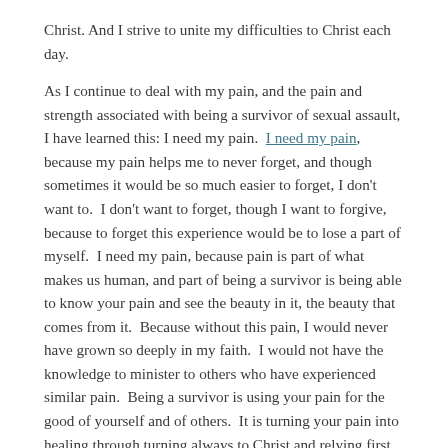Christ. And I strive to unite my difficulties to Christ each day.

As I continue to deal with my pain, and the pain and strength associated with being a survivor of sexual assault, I have learned this: I need my pain. I need my pain, because my pain helps me to never forget, and though sometimes it would be so much easier to forget, I don't want to. I don't want to forget, though I want to forgive, because to forget this experience would be to lose a part of myself. I need my pain, because pain is part of what makes us human, and part of being a survivor is being able to know your pain and see the beauty in it, the beauty that comes from it. Because without this pain, I would never have grown so deeply in my faith. I would not have the knowledge to minister to others who have experienced similar pain. Being a survivor is using your pain for the good of yourself and of others. It is turning your pain into healing through turning always to Christ and relying first on him. Being a survivor is a process of searching, a process of rediscovering oneself, a process of forgiving. Being a survivor is being strong enough to admit that you are weak, that you cannot walk this alone, that you need others to walk with you, and that you need Christ. Because at the end of the day, even though “survivor of sexual assault” is a label that describes my identity, the most